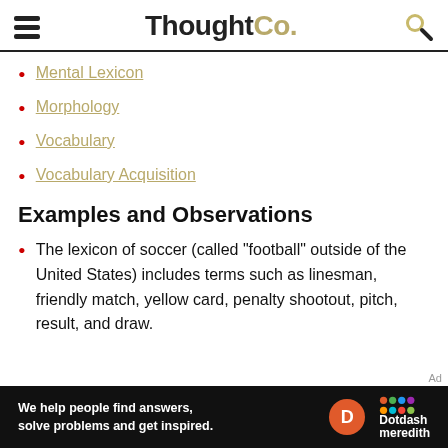ThoughtCo.
Mental Lexicon
Morphology
Vocabulary
Vocabulary Acquisition
Examples and Observations
The lexicon of soccer (called "football" outside of the United States) includes terms such as linesman, friendly match, yellow card, penalty shootout, pitch, result, and draw.
[Figure (infographic): Dotdash Meredith advertisement banner: 'We help people find answers, solve problems and get inspired.' with D logo and Dotdash Meredith branding on black background.]